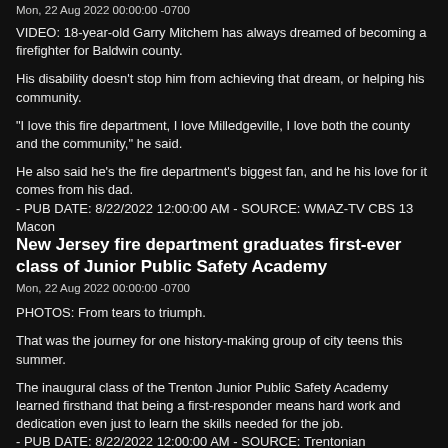Mon, 22 Aug 2022 00:00:00 -0700
VIDEO: 18-year-old Garry Mitchem has always dreamed of becoming a firefighter for Baldwin county.
His disability doesn't stop him from achieving that dream, or helping his community.
"I love this fire department, I love Milledgeville, I love both the county and the community," he said.
He also said he's the fire department's biggest fan, and he his love for it comes from his dad.
- PUB DATE: 8/22/2022 12:00:00 AM - SOURCE: WMAZ-TV CBS 13 Macon
New Jersey fire department graduates first-ever class of Junior Public Safety Academy
Mon, 22 Aug 2022 00:00:00 -0700
PHOTOS: From tears to triumph.
That was the journey for one history-making group of city teens this summer.
The inaugural class of the Trenton Junior Public Safety Academy learned firsthand that being a first-responder means hard work and dedication even just to learn the skills needed for the job.
- PUB DATE: 8/22/2022 12:00:00 AM - SOURCE: Trentonian